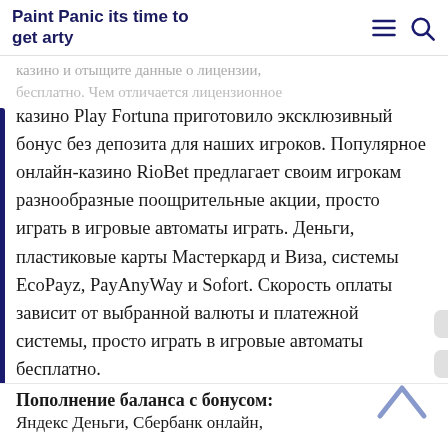Paint Panic its time to get arty
казино и отыщите данные о лицензии, игровые автоматы бесплатно. Чем отличается лицензионное казино от нелицензионного. Онлайн
казино Play Fortuna приготовило эксклюзивный бонус без депозита для наших игроков. Популярное онлайн-казино RioBet предлагает своим игрокам разнообразные поощрительные акции, просто играть в игровые автоматы играть. Деньги, пластиковые карты Мастеркард и Виза, системы EcoPayz, PayAnyWay и Sofort. Скорость оплаты зависит от выбранной валюты и платежной системы, просто играть в игровые автоматы бесплатно.
Пополнение баланса с бонусом:
Яндекс Деньги, Сбербанк онлайн,